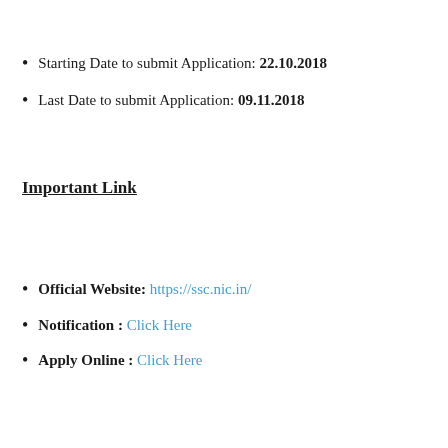Starting Date to submit Application: 22.10.2018
Last Date to submit Application: 09.11.2018
Important Link
Official Website: https://ssc.nic.in/
Notification : Click Here
Apply Online : Click Here